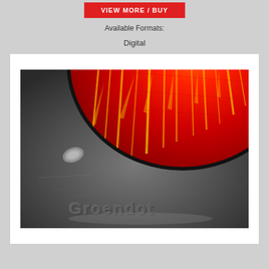VIEW MORE / BUY
Available Formats:
Digital
[Figure (photo): Close-up photograph of a red reflector light (appears to be a vehicle tail/fog lamp with yellow streaks visible through the red lens) mounted on a dark grey/black metal surface with embossed text reading 'Groendot' at the bottom.]